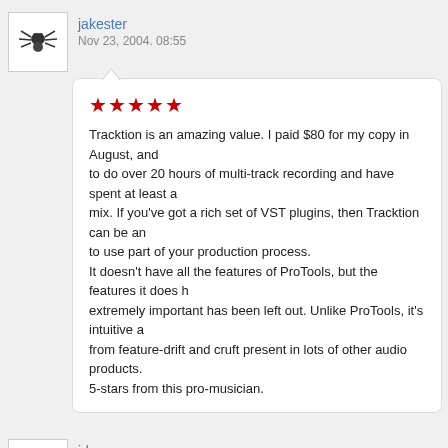jakester
Nov 23, 2004. 08:55
★★★★★
Tracktion is an amazing value. I paid $80 for my copy in August, and to do over 20 hours of multi-track recording and have spent at least a mix. If you've got a rich set of VST plugins, then Tracktion can be an to use part of your production process. It doesn't have all the features of ProTools, but the features it does h extremely important has been left out. Unlike ProTools, it's intuitive a from feature-drift and cruft present in lots of other audio products. 5-stars from this pro-musician.
jdee
Feb 12, 2004. 19:04
★★★★★
Have tried many different sequencer packages and this is by far the beginner. It has an deliberatly uncluttered screen, I was up and runn with a healthy forum regulary monitored by the developer who active This is a fantastic product and then you find out how little it costs!